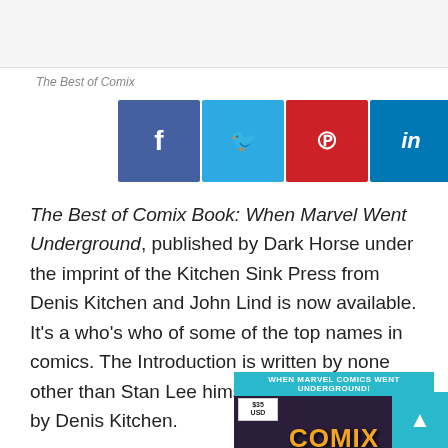The Best of Comix
[Figure (infographic): Row of 7 social media share buttons: Facebook (blue), Twitter (light blue), Pinterest (red), LinkedIn (dark blue), Reddit (orange), Email (black), Tumblr (slate blue)]
The Best of Comix Book: When Marvel Went Underground, published by Dark Horse under the imprint of the Kitchen Sink Press from Denis Kitchen and John Lind is now available. It's a who's who of some of the top names in comics. The Introduction is written by none other than Stan Lee himself with a foreword by Denis Kitchen.
[Figure (photo): Book cover image showing 'The Best of Comix Book: When Marvel Comics Went Underground!' with teal banner header, $35 price box, and large orange COMIX lettering on dark purple background]